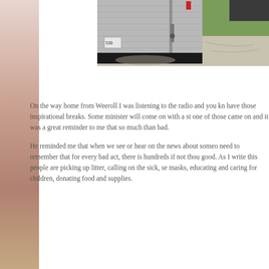[Figure (photo): Photo of a silver/aluminum trailer or cargo container with a black rubber ramp/threshold at the bottom, parked on a gravel/asphalt surface with green grass in the background. A license plate is partially visible.]
On the way home from Weeroll I was listening to the radio and you kn have those inspirational breaks.  Some minister will come on with a st one of those came on and it was a great reminder to me that so much than bad.

He reminded me that when we see or hear on the news about someo need to remember that for every bad act, there is hundreds if not thou good.  As I write this people are picking up litter, calling on the sick, se masks, educating and caring for children, donating food and supplies.